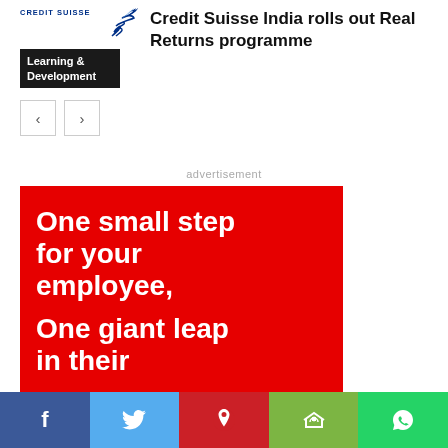[Figure (logo): Credit Suisse Learning & Development logo with bird icon and dark background label]
Credit Suisse India rolls out Real Returns programme
[Figure (other): Navigation previous and next arrow buttons]
advertisement
[Figure (infographic): Red advertisement banner with white bold text reading 'One small step for your employee, One giant leap in their' on red background]
[Figure (other): Social sharing bar with Facebook, Twitter, Pinterest, Share, and WhatsApp buttons]